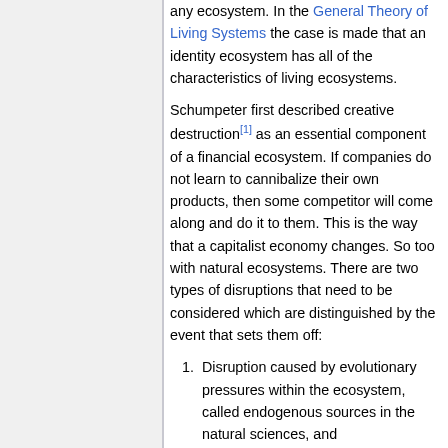any ecosystem. In the General Theory of Living Systems the case is made that an identity ecosystem has all of the characteristics of living ecosystems.
Schumpeter first described creative destruction[1] as an essential component of a financial ecosystem. If companies do not learn to cannibalize their own products, then some competitor will come along and do it to them. This is the way that a capitalist economy changes. So too with natural ecosystems. There are two types of disruptions that need to be considered which are distinguished by the event that sets them off:
Disruption caused by evolutionary pressures within the ecosystem, called endogenous sources in the natural sciences, and
Disruption caused by pressures